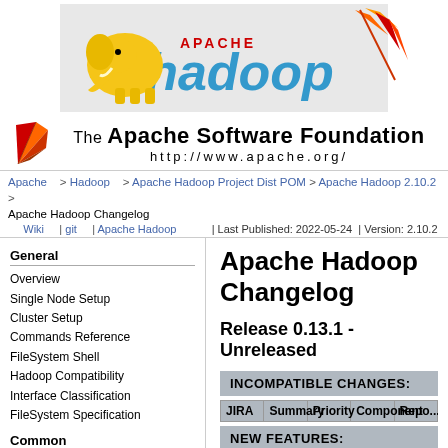[Figure (logo): Apache Hadoop logo banner with yellow elephant and colorful feather on light gray background]
[Figure (logo): Apache Software Foundation branding with feather logo, title 'The Apache Software Foundation' and URL http://www.apache.org/]
Apache > Hadoop > Apache Hadoop Project Dist POM > Apache Hadoop 2.10.2 > Apache Hadoop Changelog
Wiki | git | Apache Hadoop | Last Published: 2022-05-24 | Version: 2.10.2
General
Overview
Single Node Setup
Cluster Setup
Commands Reference
FileSystem Shell
Hadoop Compatibility
Interface Classification
FileSystem Specification
Common
CLI Mini Cluster
Native Libraries
Proxy User
Rack Awareness
Secure Mode
Service Level Authorization
Apache Hadoop Changelog
Release 0.13.1 - Unreleased
INCOMPATIBLE CHANGES:
| JIRA | Summary | Priority | Component | Reporter |
| --- | --- | --- | --- | --- |
NEW FEATURES: